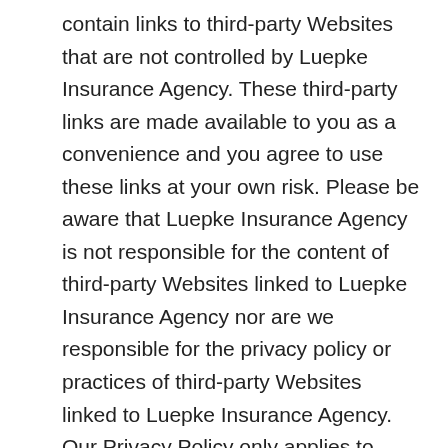contain links to third-party Websites that are not controlled by Luepke Insurance Agency. These third-party links are made available to you as a convenience and you agree to use these links at your own risk. Please be aware that Luepke Insurance Agency is not responsible for the content of third-party Websites linked to Luepke Insurance Agency nor are we responsible for the privacy policy or practices of third-party Websites linked to Luepke Insurance Agency. Our Privacy Policy only applies to information we collect from you while you are actively in a connection with Luepke Insurance Agency. If you should link to a third-party Website from Luepke Insurance Agency, we strongly encourage you to review and become familiar with that Website's privacy policy. Changes In Our Privacy Policy We reserve the right to change this